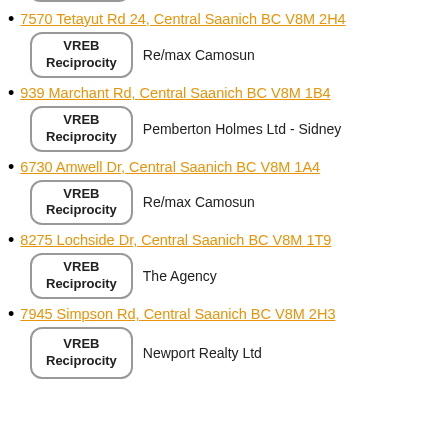[Figure (logo): VREB Reciprocity badge (partial, top of page)]
Holmes Realty Ltd
7570 Tetayut Rd 24, Central Saanich BC V8M 2H4
[Figure (logo): VREB Reciprocity badge]
Re/max Camosun
939 Marchant Rd, Central Saanich BC V8M 1B4
[Figure (logo): VREB Reciprocity badge]
Pemberton Holmes Ltd - Sidney
6730 Amwell Dr, Central Saanich BC V8M 1A4
[Figure (logo): VREB Reciprocity badge]
Re/max Camosun
8275 Lochside Dr, Central Saanich BC V8M 1T9
[Figure (logo): VREB Reciprocity badge]
The Agency
7945 Simpson Rd, Central Saanich BC V8M 2H3
[Figure (logo): VREB Reciprocity badge (partial, bottom of page)]
Newport Realty Ltd